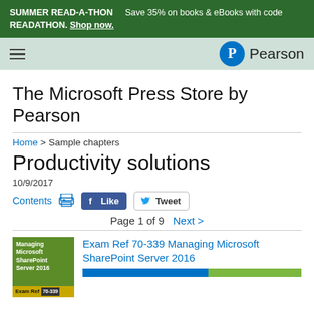SUMMER READ-A-THON READATHON. Shop now. Save 35% on books & eBooks with code
[Figure (logo): Pearson logo with circular P icon and 'Pearson' text]
The Microsoft Press Store by Pearson
Home > Sample chapters
Productivity solutions
10/9/2017
Contents  [print icon]  Like  Tweet
Page 1 of 9  Next >
Exam Ref 70-339 Managing Microsoft SharePoint Server 2016